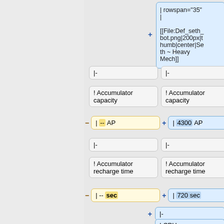| rowspan="35"
|
[[File:Def_seth_bot.png|200px|thumb|center|Seth ~ Heavy Mech]]
|-
|-
! Accumulator capacity
! Accumulator capacity
| -- AP
| 4300 AP
|-
|-
! Accumulator recharge time
! Accumulator recharge time
| -- sec
| 720 sec
|-
! CPU